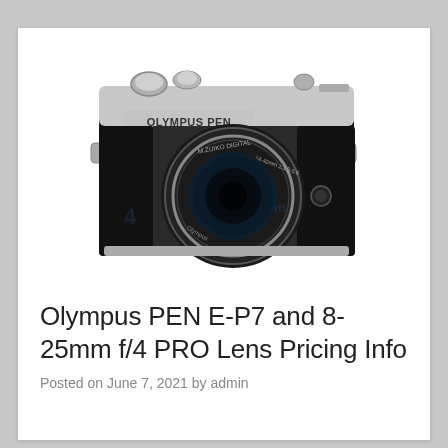[Figure (photo): Olympus PEN mirrorless camera in silver and black with M.Zuiko Digital 14-42mm f/3.5-5.6 lens, front view, on white background with faint watermark text]
Olympus PEN E-P7 and 8-25mm f/4 PRO Lens Pricing Info
Posted on June 7, 2021 by admin